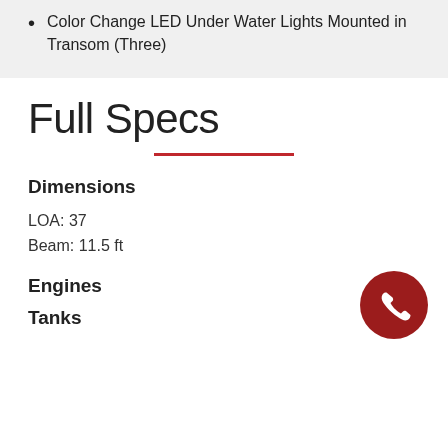Color Change LED Under Water Lights Mounted in Transom (Three)
Full Specs
Dimensions
LOA: 37
Beam: 11.5 ft
Engines
Tanks